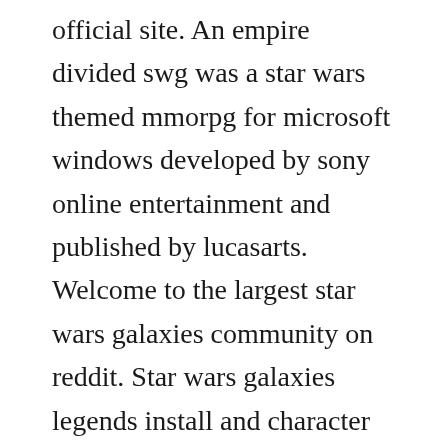official site. An empire divided swg was a star wars themed mmorpg for microsoft windows developed by sony online entertainment and published by lucasarts. Welcome to the largest star wars galaxies community on reddit. Star wars galaxies legends install and character creation. An empire divided is designed to bring the star wars universe to life at an unprecedented level of detail. Step 1 acquiring sonys star wars galaxies installation media to setup swgemu, you will need an original star wars galaxies swg client, yes original star